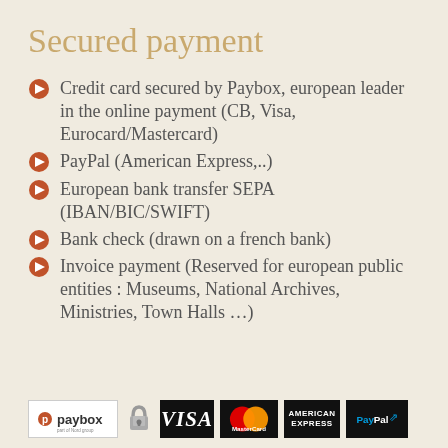Secured payment
Credit card secured by Paybox, european leader in the online payment (CB, Visa, Eurocard/Mastercard)
PayPal (American Express,..)
European bank transfer SEPA (IBAN/BIC/SWIFT)
Bank check (drawn on a french bank)
Invoice payment (Reserved for european public entities : Museums, National Archives, Ministries, Town Halls …)
[Figure (logo): Payment method logos: Paybox, lock icon, Visa, MasterCard, American Express, PayPal]